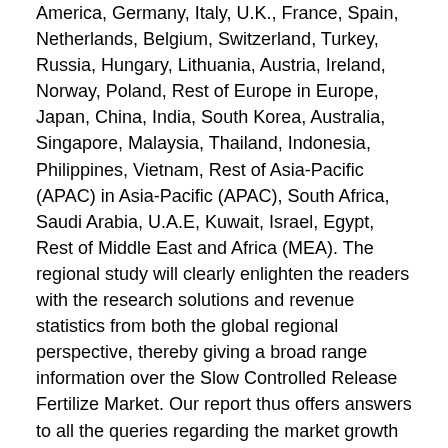America, Germany, Italy, U.K., France, Spain, Netherlands, Belgium, Switzerland, Turkey, Russia, Hungary, Lithuania, Austria, Ireland, Norway, Poland, Rest of Europe in Europe, Japan, China, India, South Korea, Australia, Singapore, Malaysia, Thailand, Indonesia, Philippines, Vietnam, Rest of Asia-Pacific (APAC) in Asia-Pacific (APAC), South Africa, Saudi Arabia, U.A.E, Kuwait, Israel, Egypt, Rest of Middle East and Africa (MEA). The regional study will clearly enlighten the readers with the research solutions and revenue statistics from both the global regional perspective, thereby giving a broad range information over the Slow Controlled Release Fertilize Market. Our report thus offers answers to all the queries regarding the market growth and future.
Reasons to buy the report:
1.   Complete overview of the global Slow Controlled Release Fertilize market
2.   In-depth analyses of the commercial landscape and market strategies
3.   Analyses of the mitigating developmental threats,